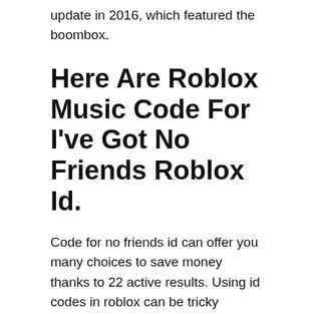update in 2016, which featured the boombox.
Here Are Roblox Music Code For I've Got No Friends Roblox Id.
Code for no friends id can offer you many choices to save money thanks to 22 active results. Using id codes in roblox can be tricky sometimes. You can easily copy the code or add it to your favorite list.
You Can Easily Copy The Code Or Add It To Your Favorite List.